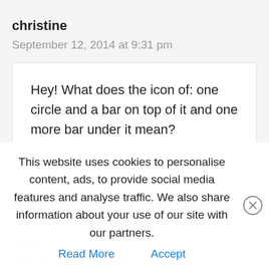christine
September 12, 2014 at 9:31 pm
Hey! What does the icon of: one circle and a bar on top of it and one more bar under it mean?
Reply
This website uses cookies to personalise content, ads, to provide social media features and analyse traffic. We also share information about your use of our site with our partners.
Read More   Accept